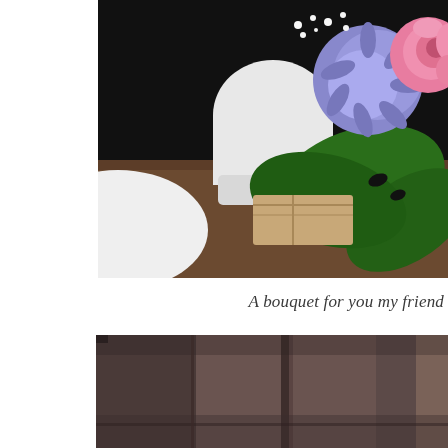[Figure (photo): A floral bouquet with pink roses, purple/blue chrysanthemums, white baby's breath, and large green monstera leaves in a white vase on a dark wooden surface. Partially cut off at left edge showing a white bowl.]
A bouquet for you my friend
[Figure (photo): A dark brownish-purple abstract interior shot showing what appears to be walls or panels with vertical lines/seams, partially showing a figure on the right edge.]